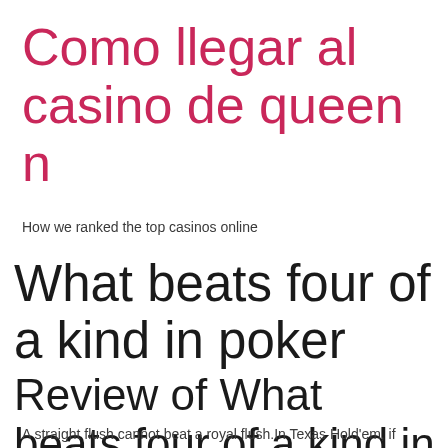Como llegar al casino de queen n
How we ranked the top casinos online
What beats four of a kind in poker
Review of What beats four of a kind in poker
A straight flush cannot beat a royal flush.In Texas Hold'em, if